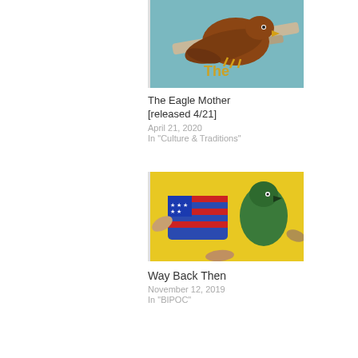[Figure (illustration): Illustration of an eagle perched on a branch with 'The' text overlay in yellow/gold, comic book style artwork showing brown eagle with teal background]
The Eagle Mother [released 4/21]
April 21, 2020
In "Culture & Traditions"
[Figure (illustration): Colorful illustration showing birds/animals with American flag imagery, yellow background, painted artwork style]
Way Back Then
November 12, 2019
In "BIPOC"